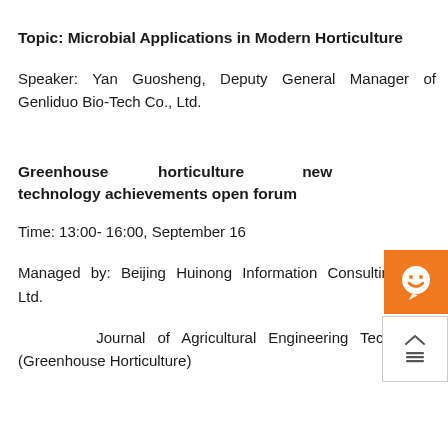Topic: Microbial Applications in Modern Horticulture
Speaker: Yan Guosheng, Deputy General Manager of Genliduo Bio-Tech Co., Ltd.
Greenhouse horticulture new technology achievements open forum
Time: 13:00- 16:00, September 16
Managed by: Beijing Huinong Information Consulting Co., Ltd.
Journal of Agricultural Engineering Technology (Greenhouse Horticulture)
[Figure (illustration): Orange circular chat/support button icon with smiley face]
[Figure (illustration): White square navigation button with up arrow and menu icon]